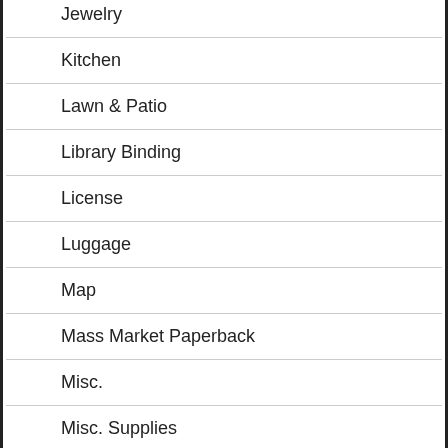Jewelry
Kitchen
Lawn & Patio
Library Binding
License
Luggage
Map
Mass Market Paperback
Misc.
Misc. Supplies